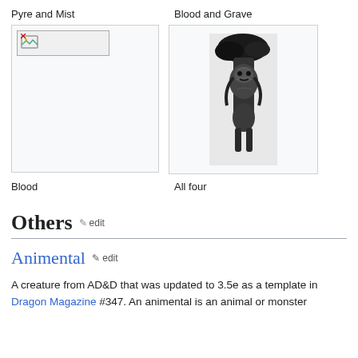Pyre and Mist
Blood and Grave
[Figure (illustration): Broken/missing image placeholder for left panel (Pyre and Mist)]
[Figure (illustration): Black and white illustration showing a creature or figure amid trees, for Blood and Grave]
Blood
All four
Others
Animental
A creature from AD&D that was updated to 3.5e as a template in Dragon Magazine #347. An animental is an animal or monster